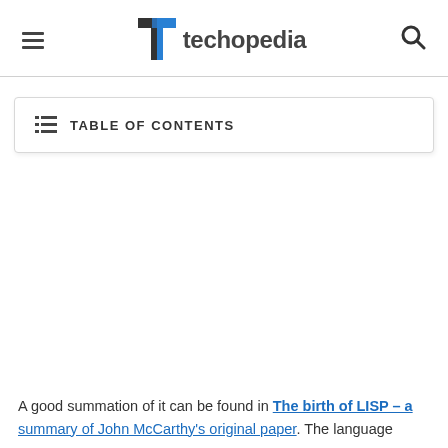techopedia
TABLE OF CONTENTS
A good summation of it can be found in The birth of LISP – a summary of John McCarthy's original paper. The language